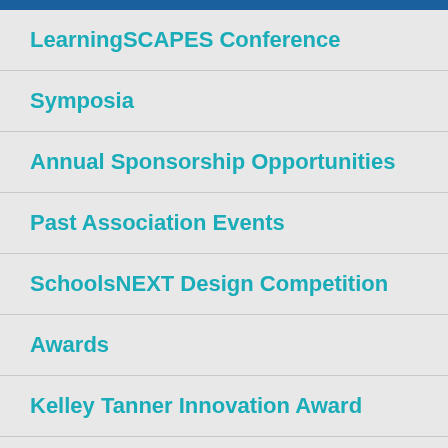LearningSCAPES Conference
Symposia
Annual Sponsorship Opportunities
Past Association Events
SchoolsNEXT Design Competition
Awards
Kelley Tanner Innovation Award
Solution Provider
Lifetime Achievement
Fellow Designation